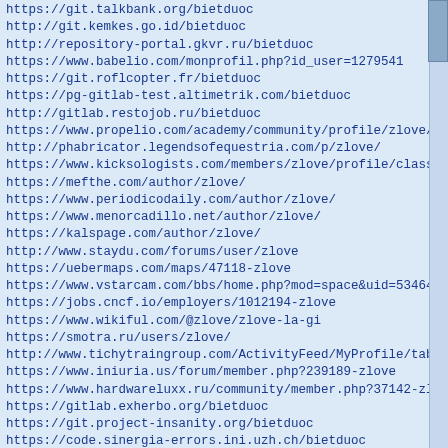https://git.talkbank.org/bietduoc
http://git.kemkes.go.id/bietduoc
http://repository-portal.gkvr.ru/bietduoc
https://www.babelio.com/monprofil.php?id_user=1279541
https://git.roflcopter.fr/bietduoc
https://pg-gitlab-test.altimetrik.com/bietduoc
http://gitlab.restojob.ru/bietduoc
https://www.propelio.com/academy/community/profile/zlove/
http://phabricator.legendsofequestria.com/p/zlove/
https://www.kicksologists.com/members/zlove/profile/classic
https://mefthe.com/author/zlove/
https://www.periodicodaily.com/author/zlove/
https://www.menorcadillo.net/author/zlove/
https://kalspage.com/author/zlove/
http://www.staydu.com/forums/user/zlove
https://uebermaps.com/maps/47118-zlove
https://www.vstarcam.com/bbs/home.php?mod=space&uid=53464&d
https://jobs.cncf.io/employers/1012194-zlove
https://www.wikiful.com/@zlove/zlove-la-gi
https://smotra.ru/users/zlove/
http://www.tichytraingroup.com/ActivityFeed/MyProfile/tabid
https://www.iniuria.us/forum/member.php?239189-zlove
https://www.hardwareluxx.ru/community/member.php?37142-zlov
https://gitlab.exherbo.org/bietduoc
https://git.project-insanity.org/bietduoc
https://code.sinergia-errors.ini.uzh.ch/bietduoc
http://git.samarindakota.go.id/bietduoc
https://git.icog-labs.com/bietduoc
https://git.lumine.io/bietduoc